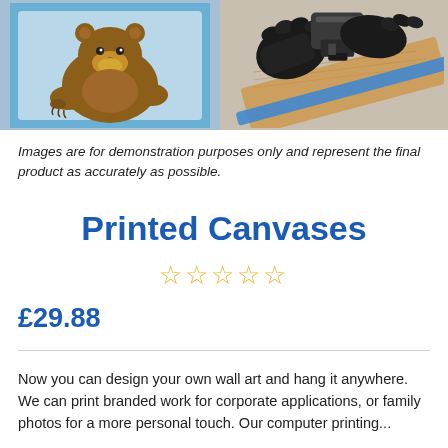[Figure (photo): Two photos side by side: left shows a cartoon bear illustration on a blue canvas print; right shows gloved hands using a staple gun on a wooden canvas frame.]
Images are for demonstration purposes only and represent the final product as accurately as possible.
Printed Canvases
☆☆☆☆☆
£29.88
Now you can design your own wall art and hang it anywhere. We can print branded work for corporate applications, or family photos for a more personal touch. Our computer printing...